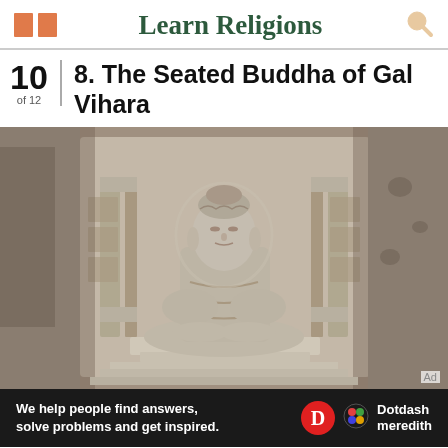Learn Religions
10 of 12 — 8. The Seated Buddha of Gal Vihara
[Figure (photo): Stone statue of a seated Buddha in meditation pose, carved into a rock face at Gal Vihara, Sri Lanka. The Buddha sits cross-legged with hands in dhyana mudra, with carved architectural details visible on either side.]
We help people find answers, solve problems and get inspired. Dotdash meredith